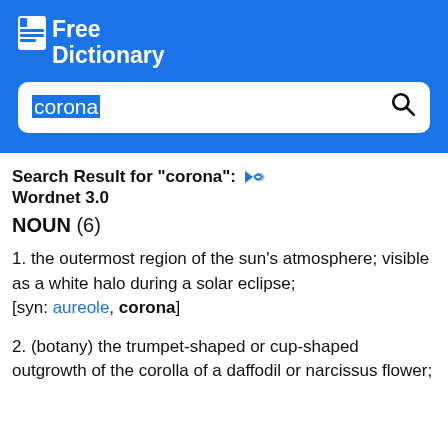Free Dictionary
corona [search input]
Search Result for "corona": Wordnet 3.0
NOUN (6)
1. the outermost region of the sun's atmosphere; visible as a white halo during a solar eclipse; [syn: aureole, corona]
2. (botany) the trumpet-shaped or cup-shaped outgrowth of the corolla of a daffodil or narcissus flower;